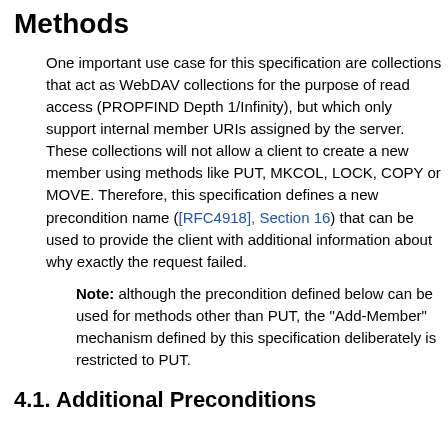Methods
One important use case for this specification are collections that act as WebDAV collections for the purpose of read access (PROPFIND Depth 1/Infinity), but which only support internal member URIs assigned by the server. These collections will not allow a client to create a new member using methods like PUT, MKCOL, LOCK, COPY or MOVE. Therefore, this specification defines a new precondition name ([RFC4918], Section 16) that can be used to provide the client with additional information about why exactly the request failed.
Note: although the precondition defined below can be used for methods other than PUT, the "Add-Member" mechanism defined by this specification deliberately is restricted to PUT.
4.1. Additional Preconditions